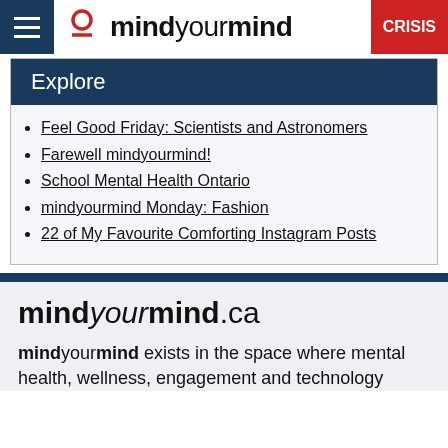mindyourmind | CRISIS
Explore
Feel Good Friday: Scientists and Astronomers
Farewell mindyourmind!
School Mental Health Ontario
mindyourmind Monday: Fashion
22 of My Favourite Comforting Instagram Posts
mindyourmind.ca
mindyourmind exists in the space where mental health, wellness, engagement and technology meet. We work with young people to create...